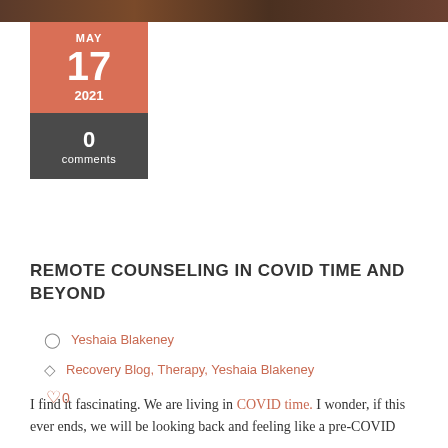[Figure (photo): Top banner image of a room or scene, cropped to a narrow bar at the top of the page]
MAY 17 2021
0 comments
REMOTE COUNSELING IN COVID TIME AND BEYOND
Yeshaia Blakeney
Recovery Blog, Therapy, Yeshaia Blakeney
0
I find it fascinating. We are living in COVID time. I wonder, if this ever ends, we will be looking back and feeling like a pre-COVID